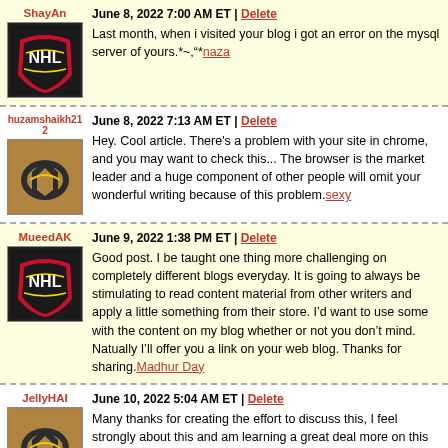ShayAn — June 8, 2022 7:00 AM ET | Delete — Last month, when i visited your blog i got an error on the mysql server of yours.*~,"*naza
huzamshaikh212 — June 8, 2022 7:13 AM ET | Delete — Hey. Cool article. There's a problem with your site in chrome, and you may want to check this... The browser is the market leader and a huge component of other people will omit your wonderful writing because of this problem.sexy
MueedAK — June 9, 2022 1:38 PM ET | Delete — Good post. I be taught one thing more challenging on completely different blogs everyday. It is going to always be stimulating to read content material from other writers and apply a little something from their store. I'd want to use some with the content on my blog whether or not you don't mind. Natually I'll offer you a link on your web blog. Thanks for sharing.Madhur Day
JellyHAI — June 10, 2022 5:04 AM ET | Delete — Many thanks for creating the effort to discuss this, I feel strongly about this and am learning a great deal more on this subject. If possible, as you gain expertise, would you mind updating your website with a great deal more info? It's really useful for me.